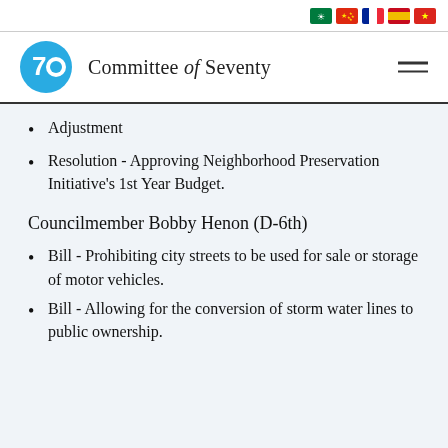Committee of Seventy
Adjustment
Resolution - Approving Neighborhood Preservation Initiative's 1st Year Budget.
Councilmember Bobby Henon (D-6th)
Bill - Prohibiting city streets to be used for sale or storage of motor vehicles.
Bill - Allowing for the conversion of storm water lines to public ownership.